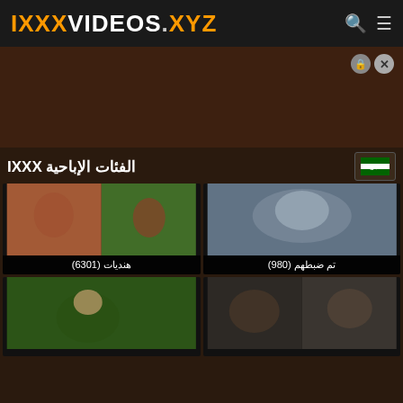IXXXVIDEOS.XYZ
[Figure (screenshot): Advertisement banner area with dark brown background, close/lock buttons in top right]
الفئات الإباحية IXXX
[Figure (photo): Thumbnail: هنديات (6301) - Indian category thumbnail showing two women]
[Figure (photo): Thumbnail: تم ضبطهم (980) - Caught category thumbnail]
[Figure (photo): Thumbnail: bottom left category]
[Figure (photo): Thumbnail: bottom right category]